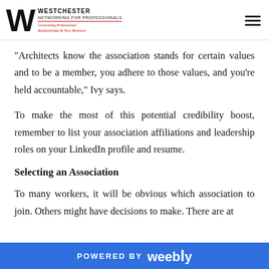WESTCHESTER NETWORKING FOR PROFESSIONALS — Generating Professional Relationships & New Business
"Architects know the association stands for certain values and to be a member, you adhere to those values, and you're held accountable," Ivy says.
To make the most of this potential credibility boost, remember to list your association affiliations and leadership roles on your LinkedIn profile and resume.
Selecting an Association
To many workers, it will be obvious which association to join. Others might have decisions to make. There are at
POWERED BY weebly